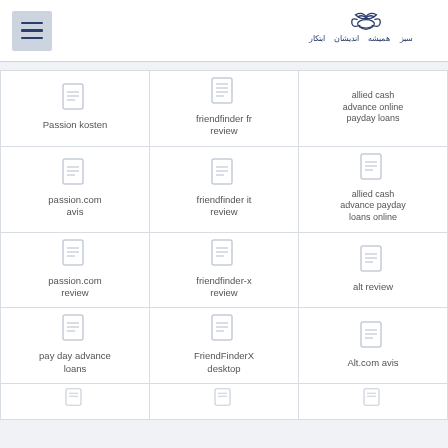Navigation menu and logo
| Col1 | Col2 | Col3 |
| --- | --- | --- |
| Passion kosten | friendfinder fr review | allied cash advance online payday loans |
| passion.com avis | friendfinder it review | allied cash advance payday loans online |
| passion.com review | friendfinder-x review | alt review |
| pay day advance loans | FriendFinderX desktop | Alt.com avis |
| (partial) | (partial) | (partial) |